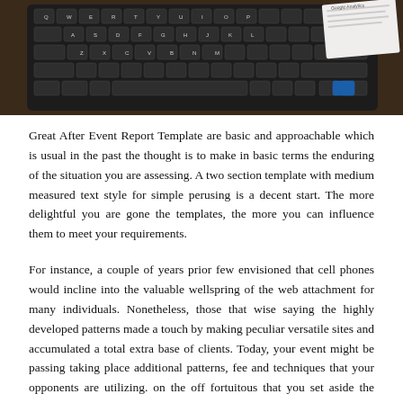[Figure (photo): Close-up photograph of a dark laptop or tablet keyboard on a wooden surface, with a paper document partially visible in the upper right corner.]
Great After Event Report Template are basic and approachable which is usual in the past the thought is to make in basic terms the enduring of the situation you are assessing. A two section template with medium measured text style for simple perusing is a decent start. The more delightful you are gone the templates, the more you can influence them to meet your requirements.
For instance, a couple of years prior few envisioned that cell phones would incline into the valuable wellspring of the web attachment for many individuals. Nonetheless, those that wise saying the highly developed patterns made a touch by making peculiar versatile sites and accumulated a total extra base of clients. Today, your event might be passing taking place additional patterns, fee and techniques that your opponents are utilizing. on the off fortuitous that you set aside the effort to use an unfriendly examination After Event Report Template, you will in any situation have the data in the past your which shows how your thing piles facing the challenge. Your template needs to start with the